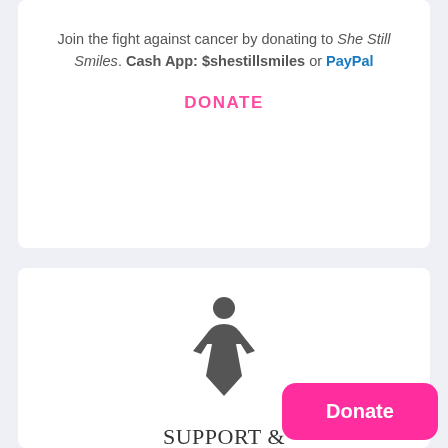Join the fight against cancer by donating to She Still Smiles. Cash App: $shestillsmiles or PayPal
DONATE
[Figure (illustration): Woman/female silhouette icon in dark gray]
SUPPORT & ASSISTANCE
Check out our Care Package Recipien...